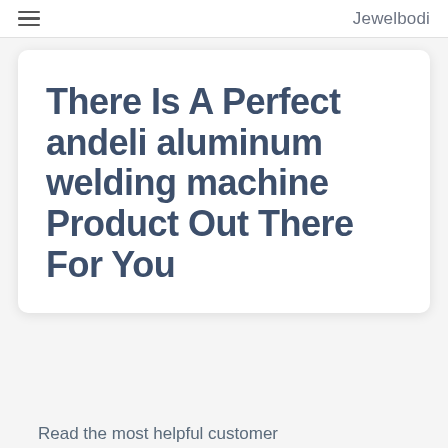Jewelbodi
There Is A Perfect andeli aluminum welding machine Product Out There For You
Read the most helpful customer